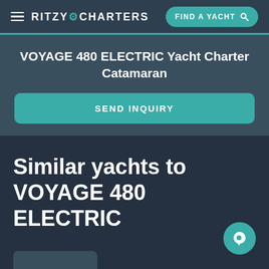RITZY CHARTERS
VOYAGE 480 ELECTRIC Yacht Charter Catamaran
SEND INQUIRY
Similar yachts to VOYAGE 480 ELECTRIC